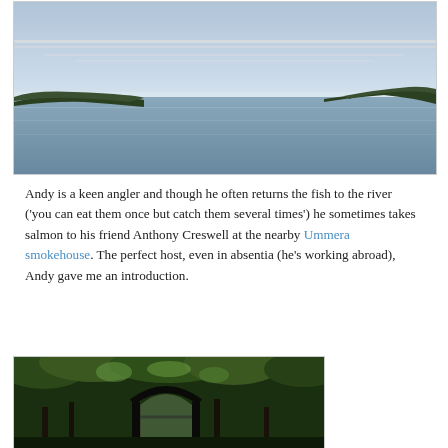[Figure (photo): Aerial or elevated view of a calm coastal inlet or lough with water reflecting blue-grey sky, green wooded headlands on left and right, with dramatic cloud-streaked sky overhead.]
Andy is a keen angler and though he often returns the fish to the river ('you can eat them once but catch them several times') he sometimes takes salmon to his friend Anthony Creswell at the nearby Ummera smokehouse. The perfect host, even in absentia (he's working abroad), Andy gave me an introduction.
[Figure (photo): A stone or iron gate/archway entrance framed by dense lush green trees and foliage, with dappled light filtering through the canopy.]